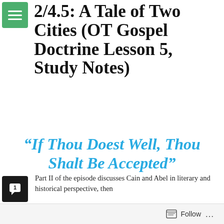2/4.5: A Tale of Two Cities (OT Gospel Doctrine Lesson 5, Study Notes)
“If Thou Doest Well, Thou Shalt Be Accepted”
Part II of the episode discusses Cain and Abel in literary and historical perspective, then